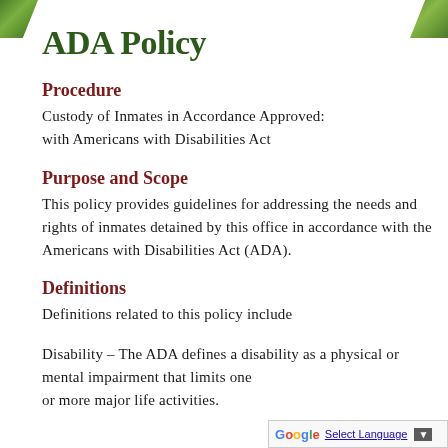ADA Policy
Procedure
Custody of Inmates in Accordance Approved: with Americans with Disabilities Act
Purpose and Scope
This policy provides guidelines for addressing the needs and rights of inmates detained by this office in accordance with the Americans with Disabilities Act (ADA).
Definitions
Definitions related to this policy include
Disability – The ADA defines a disability as a physical or mental impairment that limits one or more major life activities.